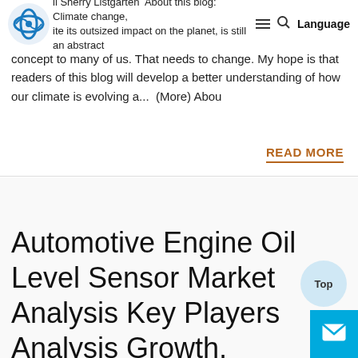il Sherry Listgarten About this blog: Climate change, ite its outsized impact on the planet, is still an abstract Language
concept to many of us. That needs to change. My hope is that readers of this blog will develop a better understanding of how our climate is evolving a...  (More) Abou
READ MORE
Automotive Engine Oil Level Sensor Market Analysis Key Players Analysis Growth, Upcoming Demand &#8211;